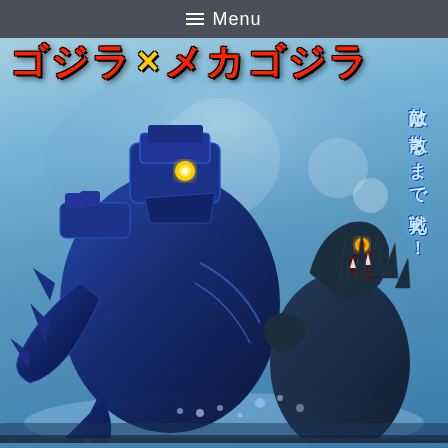☰ Menu
[Figure (illustration): Movie poster for Godzilla x Mechagodzilla (ゴジラ×メカゴジラ). Shows Mechagodzilla (dark blue robotic creature) lunging at Godzilla (dark monster with spiky back, roaring) against a light blue sky background. Japanese title in red/yellow at top. Japanese text on right side reading 敵は散るまで戦え！ (Fight until the enemy scatters!).]